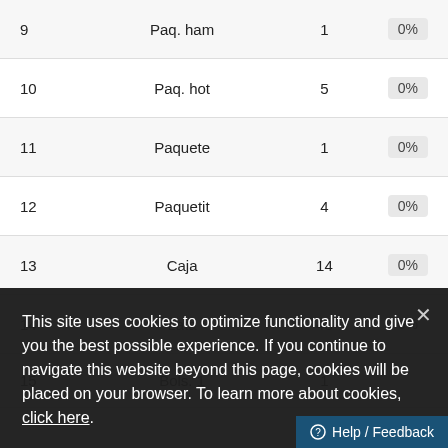| # | Name | Qty | % |
| --- | --- | --- | --- |
| 9 | Paq. ham | 1 | 0% |
| 10 | Paq. hot | 5 | 0% |
| 11 | Paquete | 1 | 0% |
| 12 | Paquetit | 4 | 0% |
| 13 | Caja | 14 | 0% |
| 14 | Lata | 48 | 0% |
| 15 | Bols. 1 | 1 | 0% |
| 16 |  | 81 | 0% |
| 17 | Bols. 4 | 88 |  |
This site uses cookies to optimize functionality and give you the best possible experience. If you continue to navigate this website beyond this page, cookies will be placed on your browser. To learn more about cookies, click here.